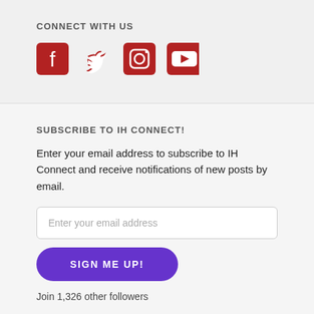CONNECT WITH US
[Figure (infographic): Four red social media icons: Facebook, Twitter, Instagram, YouTube]
SUBSCRIBE TO IH CONNECT!
Enter your email address to subscribe to IH Connect and receive notifications of new posts by email.
Enter your email address
SIGN ME UP!
Join 1,326 other followers